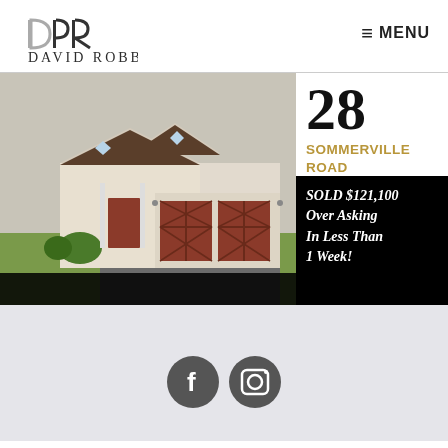[Figure (logo): DR monogram logo with stylized D and R letterforms]
DAVID ROBBIO
≡ MENU
[Figure (photo): Exterior photo of a craftsman-style bungalow home with red garage doors and green lawn]
28
SOMMERVILLE ROAD
SOLD $121,100 Over Asking In Less Than 1 Week!
[Figure (illustration): Facebook and Instagram social media icons in dark grey circles at the bottom of the page]